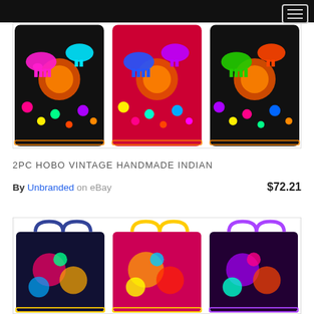[Figure (photo): Three colorful handmade Indian embroidered bags with elephant motifs on black, red, and dark backgrounds, displayed side by side in a product listing image.]
2PC HOBO VINTAGE HANDMADE INDIAN
By Unbranded on eBay  $72.21
[Figure (photo): Three colorful handmade Indian embroidered tote bags with paisley and floral motifs shown from a different angle, partially visible at the bottom of the page.]